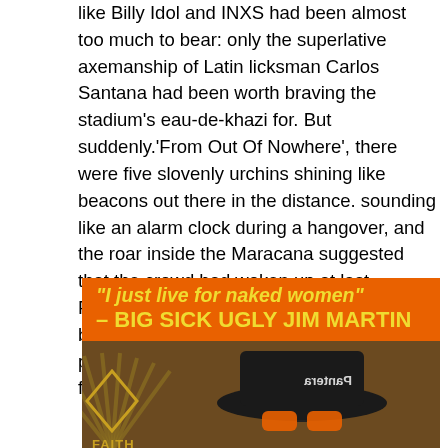like Billy Idol and INXS had been almost too much to bear: only the superlative axemanship of Latin licksman Carlos Santana had been worth braving the stadium's eau-de-khazi for. But suddenly.'From Out Of Nowhere', there were five slovenly urchins shining like beacons out there in the distance. sounding like an alarm clock during a hangover, and the roar inside the Maracana suggested that the crowd had woken up at last.
Faith No More played the proverbial blinder, Brian, their already considerable popularity in Brazil swelling with every track from 'The Real Thing'.
[Figure (photo): Photo of Big Sick Ugly Jim Martin with an orange banner quote: "I just live for naked women" – BIG SICK UGLY JIM MARTIN. Shows a person wearing a black hat with 'Pantera' written on it and orange sunglasses, against a brown background with a Faith No More logo visible at the bottom left.]